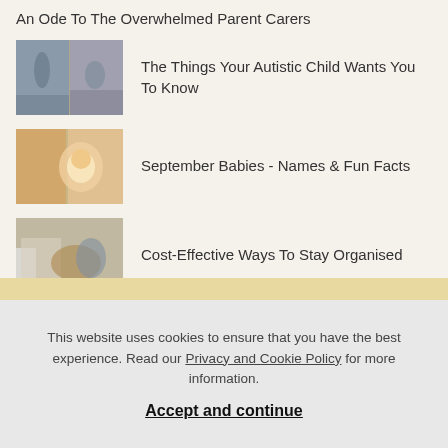An Ode To The Overwhelmed Parent Carers
The Things Your Autistic Child Wants You To Know
September Babies - Names & Fun Facts
Cost-Effective Ways To Stay Organised
This website uses cookies to ensure that you have the best experience. Read our Privacy and Cookie Policy for more information.
Accept and continue